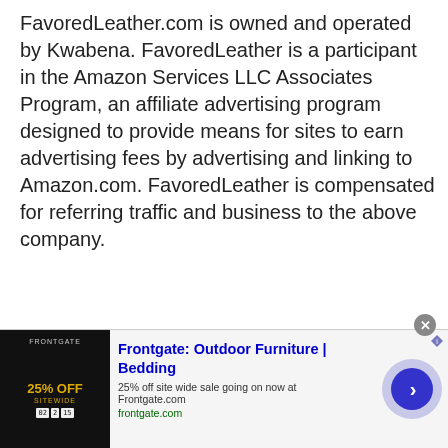FavoredLeather.com is owned and operated by Kwabena. FavoredLeather is a participant in the Amazon Services LLC Associates Program, an affiliate advertising program designed to provide means for sites to earn advertising fees by advertising and linking to Amazon.com. FavoredLeather is compensated for referring traffic and business to the above company.
[Figure (other): Advertisement banner for Frontgate: Outdoor Furniture | Bedding. Shows 25% off sitewide sale going on now at Frontgate.com. Includes a product image with '25% OFF SITEWIDE' text, ad title, description, URL, and a circular blue arrow button.]